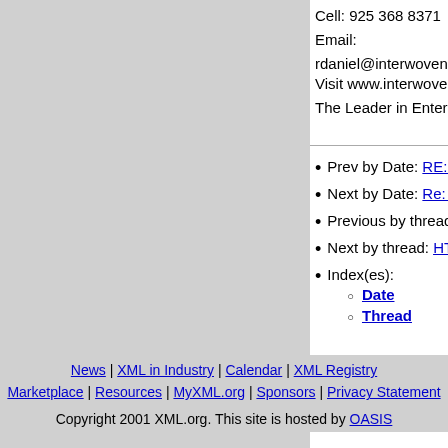Cell: 925 368 8371
Email: rdaniel@interwoven.com
Visit www.interwoven.com
The Leader in Enterprise Content Manager
Prev by Date: RE: [xml-dev] Semanti…
Next by Date: Re: [xml-dev] Re: URIs
Previous by thread: RE: [xml-dev] Ser…
Next by thread: HTML and XML data p…
Index(es):
  Date
  Thread
News | XML in Industry | Calendar | XML Registry
Marketplace | Resources | MyXML.org | Sponsors | Privacy Statement
Copyright 2001 XML.org. This site is hosted by OASIS